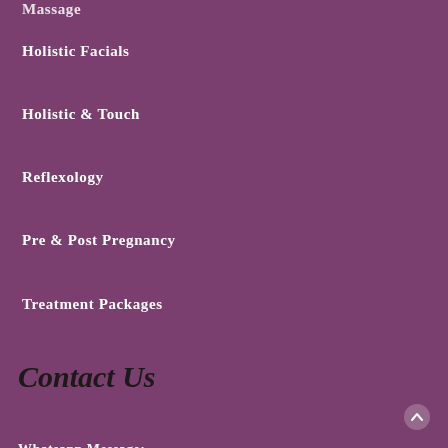Massage
Holistic Facials
Holistic & Touch
Reflexology
Pre & Post Pregnancy
Treatment Packages
Contact Us
Whatsapp Message:
0862709173
0870577013
Email: receptionheadtotoe@gmail.com
Quick Links